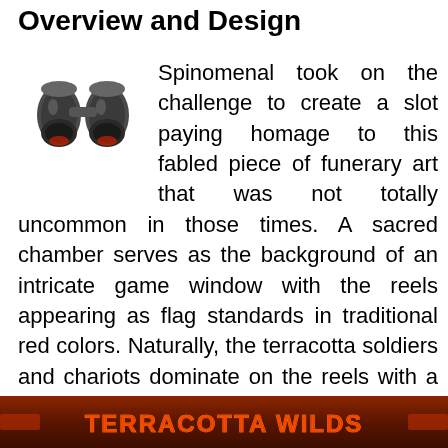Overview and Design
[Figure (illustration): Binoculars icon in dark grey and red colors]
Spinomenal took on the challenge to create a slot paying homage to this fabled piece of funerary art that was not totally uncommon in those times. A sacred chamber serves as the background of an intricate game window with the reels appearing as flag standards in traditional red colors. Naturally, the terracotta soldiers and chariots dominate on the reels with a dragon breathing life into them when they trigger the Soldiers Rebirth feature. Traditional Chinese soundbites are mixed with a heroic tune as well as dragon roars to provide fitting audio to the gameplay.
[Figure (logo): Terracotta Wilds banner/logo with orange-red stylized text on a dark reddish-brown background with decorative elements]